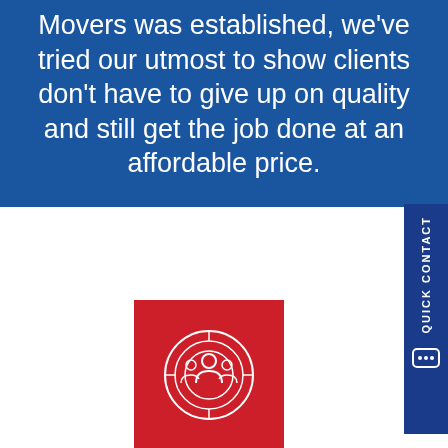Movers was established, we've tried our utmost to show clients don't have to give up on quality and still get the job done at an affordable price.
[Figure (illustration): Red square icon with white group/people icon inside a circular target design]
TARGET
To build a strong relation with our clients
[Figure (illustration): Red square icon with white target/bullseye with arrow design]